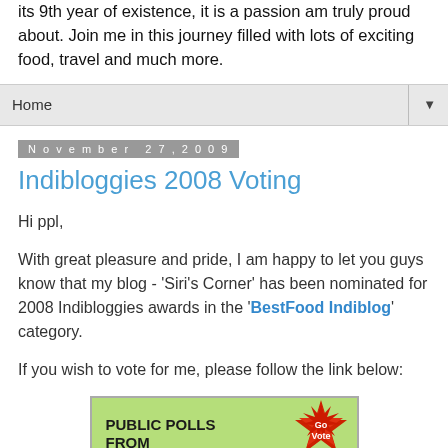its 9th year of existence, it is a passion am truly proud about. Join me in this journey filled with lots of exciting food, travel and much more.
Home ▼
November 27, 2009
Indibloggies 2008 Voting
Hi ppl,
With great pleasure and pride, I am happy to let you guys know that my blog - 'Siri's Corner' has been nominated for 2008 Indibloggies awards in the 'BestFood Indiblog' category.
If you wish to vote for me, please follow the link below:
[Figure (other): Public Polls banner with green background, red star shape with 'Go Vote' text]